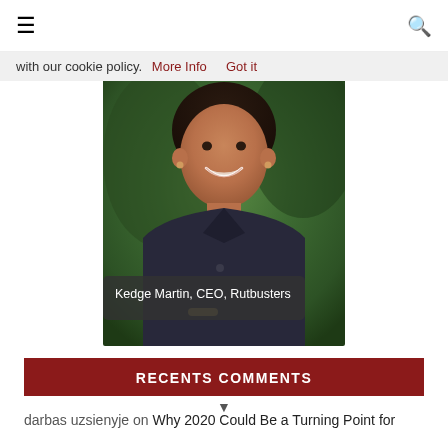≡  🔍
with our cookie policy.  More Info    Got it
[Figure (photo): Portrait photo of Kedge Martin, CEO of Rutbusters, a woman smiling, wearing a dark jacket, with a blurred green outdoor background. Caption overlay reads 'Kedge Martin, CEO, Rutbusters'.]
Kedge Martin, CEO, Rutbusters
RECENTS COMMENTS
darbas uzsienyje on Why 2020 Could Be a Turning Point for